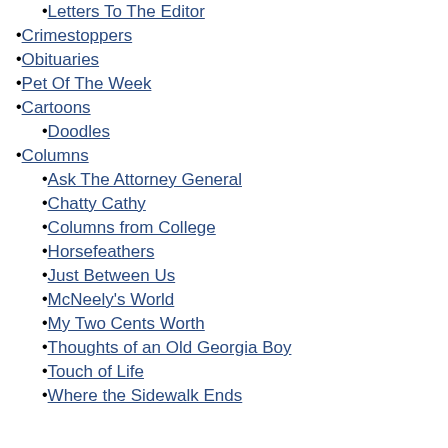Letters To The Editor
Crimestoppers
Obituaries
Pet Of The Week
Cartoons
Doodles
Columns
Ask The Attorney General
Chatty Cathy
Columns from College
Horsefeathers
Just Between Us
McNeely's World
My Two Cents Worth
Thoughts of an Old Georgia Boy
Touch of Life
Where the Sidewalk Ends